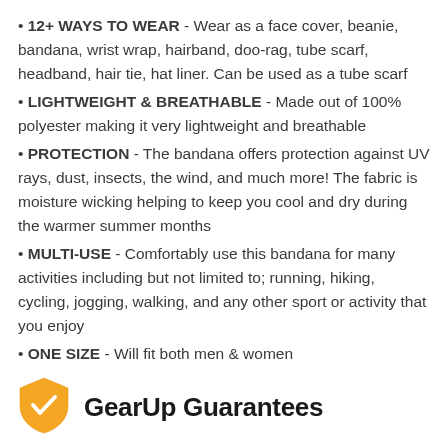12+ WAYS TO WEAR - Wear as a face cover, beanie, bandana, wrist wrap, hairband, doo-rag, tube scarf, headband, hair tie, hat liner. Can be used as a tube scarf
LIGHTWEIGHT & BREATHABLE - Made out of 100% polyester making it very lightweight and breathable
PROTECTION - The bandana offers protection against UV rays, dust, insects, the wind, and much more! The fabric is moisture wicking helping to keep you cool and dry during the warmer summer months
MULTI-USE - Comfortably use this bandana for many activities including but not limited to; running, hiking, cycling, jogging, walking, and any other sport or activity that you enjoy
ONE SIZE - Will fit both men & women
[Figure (logo): GearUp Guarantees shield logo with checkmark in gold/orange color]
GearUp Guarantees